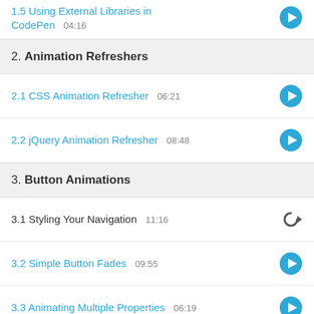1.5 Using External Libraries in CodePen 04:16
2. Animation Refreshers
2.1 CSS Animation Refresher 06:21
2.2 jQuery Animation Refresher 08:48
3. Button Animations
3.1 Styling Your Navigation 11:16
3.2 Simple Button Fades 09:55
3.3 Animating Multiple Properties 06:19
3.4 Before and After 08:53